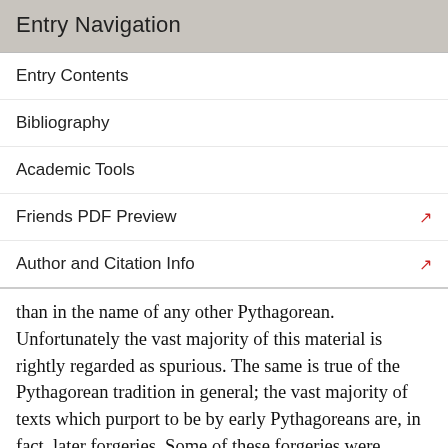Entry Navigation
Entry Contents
Bibliography
Academic Tools
Friends PDF Preview
Author and Citation Info
than in the name of any other Pythagorean. Unfortunately the vast majority of this material is rightly regarded as spurious. The same is true of the Pythagorean tradition in general; the vast majority of texts which purport to be by early Pythagoreans are, in fact, later forgeries. Some of these forgeries were produced for purely monetary reasons; a text of a “rare” work by a famous Pythagorean could fetch a considerable sum from book collectors. There were characteristics unique to the Pythagorean tradition, however, that led to a proliferation of forgeries. Starting as early as the later fourth century BC,